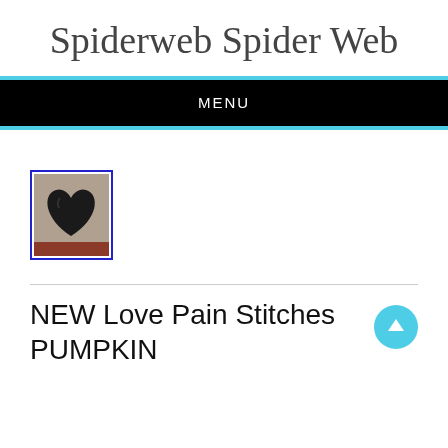Spiderweb Spider Web
MENU
[Figure (photo): Small thumbnail photo of a dark heart-shaped pumpkin item with a blue border]
NEW Love Pain Stitches PUMPKIN